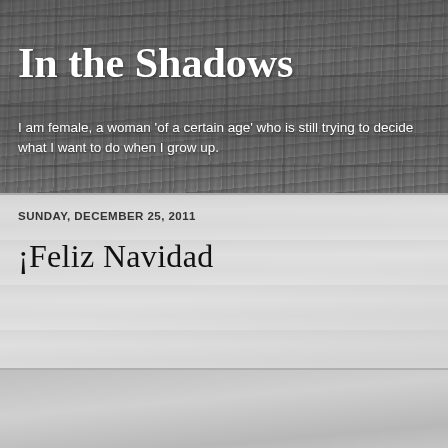[Figure (photo): Header background photo of a cobblestone or paved surface in grayscale tones]
In the Shadows
I am female, a woman 'of a certain age' who is still trying to decide what I want to do when I grow up.
SUNDAY, DECEMBER 25, 2011
¡Feliz Navidad
[Figure (photo): Lower section background showing a light gray textured surface, possibly stone or concrete]